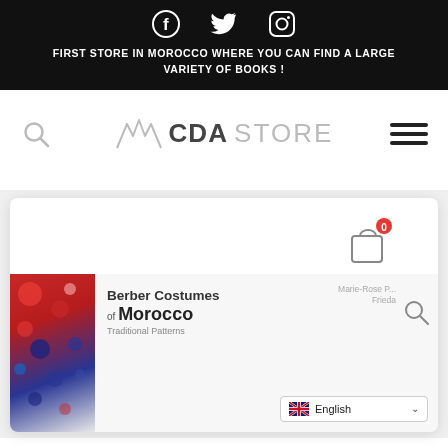Social media icons: Facebook, Twitter, Instagram
FIRST STORE IN MOROCCO WHERE YOU CAN FIND A LARGE VARIETY OF BOOKS !
[Figure (logo): CDA STORE logo with stylized mountain/wave icon to the left of the text, search icon on left, hamburger menu on right]
[Figure (infographic): Shopping cart icon with badge showing 0]
[Figure (photo): Book cover: Berber Costumes of Morocco – Traditional Patterns, with decorative red and blue pattern cover. Author: Marie-Rose P... Frieda. Language selector showing English with UK flag.]